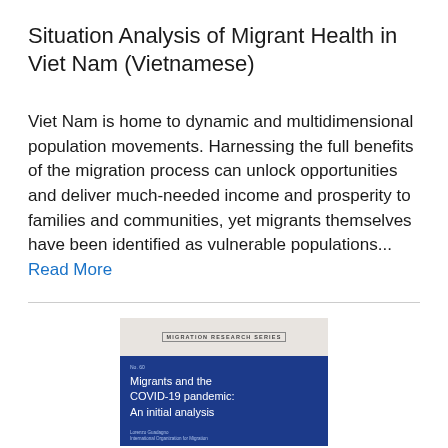Situation Analysis of Migrant Health in Viet Nam (Vietnamese)
Viet Nam is home to dynamic and multidimensional population movements. Harnessing the full benefits of the migration process can unlock opportunities and deliver much-needed income and prosperity to families and communities, yet migrants themselves have been identified as vulnerable populations... Read More
[Figure (illustration): Book cover for 'Migrants and the COVID-19 pandemic: An initial analysis' from the Migration Research Series. The cover has a light gray top section with the series title and a dark blue bottom section with the publication number, title in white text, and author information.]